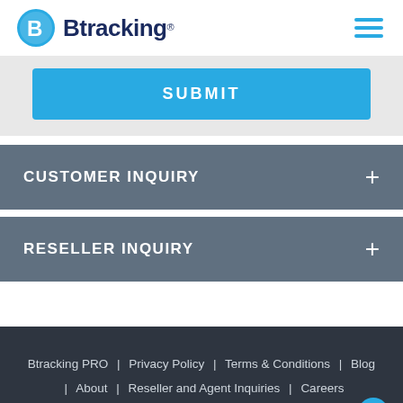Btracking
SUBMIT
CUSTOMER INQUIRY
RESELLER INQUIRY
Btracking PRO | Privacy Policy | Terms & Conditions | Blog | About | Reseller and Agent Inquiries | Careers | Contact Us